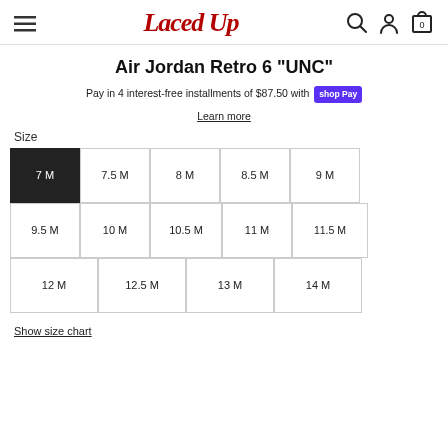LacedUp — navigation header with hamburger menu, logo, search, account, and cart icons
Air Jordan Retro 6 "UNC"
Pay in 4 interest-free installments of $87.50 with shop Pay
Learn more
Size
7 M (selected), 7.5 M, 8 M, 8.5 M, 9 M, 9.5 M, 10 M, 10.5 M, 11 M, 11.5 M, 12 M, 12.5 M, 13 M, 14 M
Show size chart